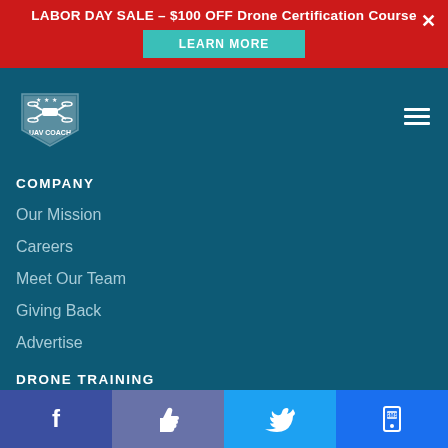LABOR DAY SALE – $100 OFF Drone Certification Course
LEARN MORE
[Figure (logo): UAV Coach logo — shield with drone and stars]
COMPANY
Our Mission
Careers
Meet Our Team
Giving Back
Advertise
DRONE TRAINING
FAA Recreational Flyer Training
FAA Part 107 Test Prep
Hands On Drone Training